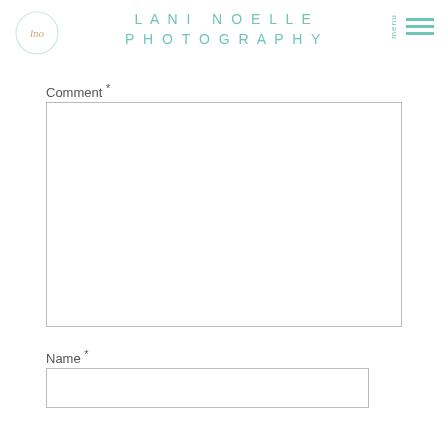LANI NOELLE PHOTOGRAPHY
Comment *
Name *